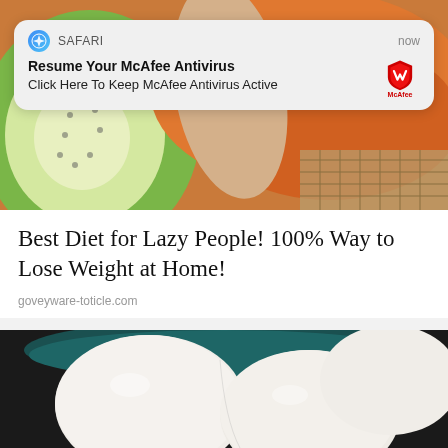[Figure (photo): Close-up photo of sliced kiwi fruit with orange/carrot background]
[Figure (screenshot): Safari browser push notification overlay: 'Resume Your McAfee Antivirus - Click Here To Keep McAfee Antivirus Active' with McAfee shield logo, showing 'now' timestamp]
Best Diet for Lazy People! 100% Way to Lose Weight at Home!
goveyware-toticle.com
[Figure (photo): Close-up photo of peeled hard-boiled eggs in a dark bowl]